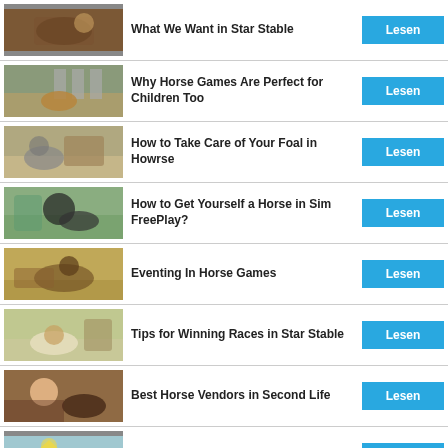What We Want in Star Stable
Why Horse Games Are Perfect for Children Too
How to Take Care of Your Foal in Howrse
How to Get Yourself a Horse in Sim FreePlay?
Eventing In Horse Games
Tips for Winning Races in Star Stable
Best Horse Vendors in Second Life
Horses and Treats